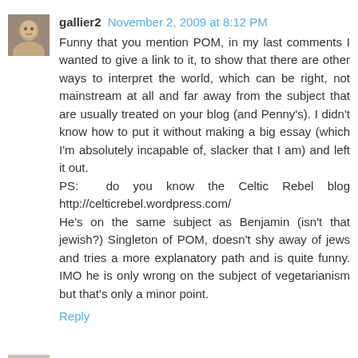gallier2 November 2, 2009 at 8:12 PM
Funny that you mention POM, in my last comments I wanted to give a link to it, to show that there are other ways to interpret the world, which can be right, not mainstream at all and far away from the subject that are usually treated on your blog (and Penny's). I didn't know how to put it without making a big essay (which I'm absolutely incapable of, slacker that I am) and left it out.
PS: do you know the Celtic Rebel blog http://celticrebel.wordpress.com/
He's on the same subject as Benjamin (isn't that jewish?) Singleton of POM, doesn't shy away of jews and tries a more explanatory path and is quite funny. IMO he is only wrong on the subject of vegetarianism but that's only a minor point.
Reply
Destiny November 3, 2009 at 12:46 AM
As always a good blog - For me groups like Pseudo Occult